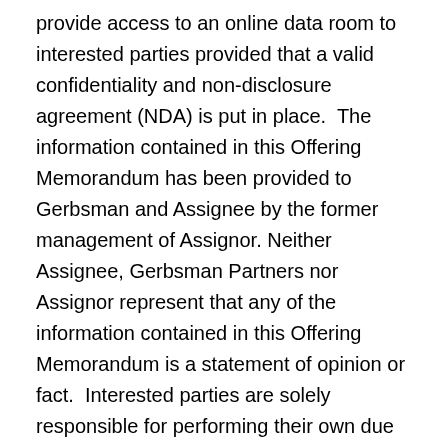provide access to an online data room to interested parties provided that a valid confidentiality and non-disclosure agreement (NDA) is put in place.  The information contained in this Offering Memorandum has been provided to Gerbsman and Assignee by the former management of Assignor. Neither Assignee, Gerbsman Partners nor Assignor represent that any of the information contained in this Offering Memorandum is a statement of opinion or fact.  Interested parties are solely responsible for performing their own due diligence to determine the value and status of the assets being offered through independent investigation by themselves and their legal and/or financial advisors.
Dates and Deadlines –Based on the submitted indications of interest or otherwise, qualifying parties